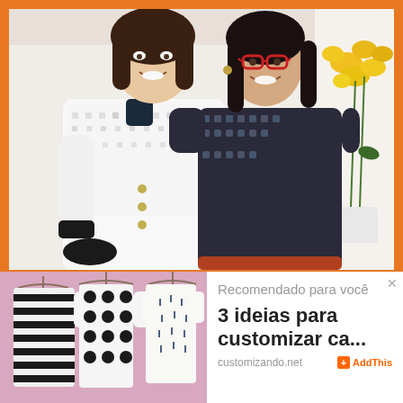[Figure (photo): Two smiling women posing together. Left woman wears a white lace/eyelet blazer with black details. Right woman wears red glasses and a dark patterned/beaded top. Yellow flowers visible in background on the right.]
[Figure (photo): Three white garments hanging on hangers against a pink/mauve background. Left item is a striped black and white dress, middle is a white dress with large black polka dots, right is a white top with small scattered marks.]
Recomendado para você
3 ideias para customizar ca...
customizando.net
AddThis